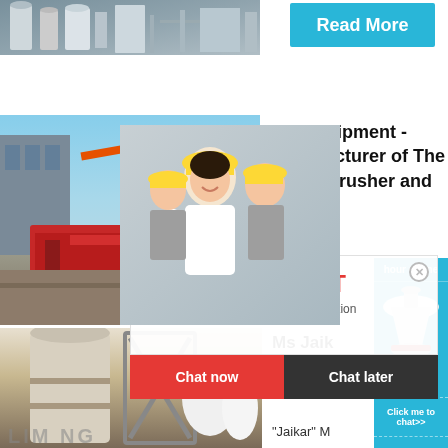[Figure (photo): Industrial facility/plant photo, top left]
[Figure (other): Read More button in blue]
[Figure (photo): Construction equipment / crusher site photo]
RR Equipment - Manufacturer of The Rebel Crusher and
[Figure (photo): Live chat popup overlay with worker photo, LIVE CHAT text, Chat now and Chat later buttons]
[Figure (other): Right sidebar with hour online text, crusher machine image, Click me to chat>>, Enquiry, limingjlmofen buttons]
[Figure (photo): Industrial mill/silo equipment photo bottom left, LIMING branding]
Ms Jaik Private Amritsa
"Jaikar" M